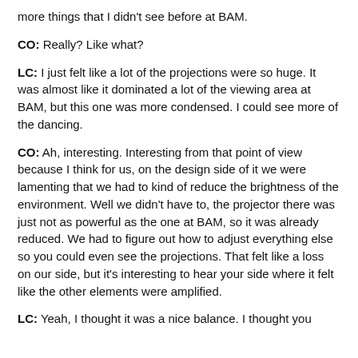more things that I didn't see before at BAM.
CO: Really? Like what?
LC: I just felt like a lot of the projections were so huge. It was almost like it dominated a lot of the viewing area at BAM, but this one was more condensed. I could see more of the dancing.
CO: Ah, interesting. Interesting from that point of view because I think for us, on the design side of it we were lamenting that we had to kind of reduce the brightness of the environment. Well we didn't have to, the projector there was just not as powerful as the one at BAM, so it was already reduced. We had to figure out how to adjust everything else so you could even see the projections. That felt like a loss on our side, but it's interesting to hear your side where it felt like the other elements were amplified.
LC: Yeah, I thought it was a nice balance. I thought you